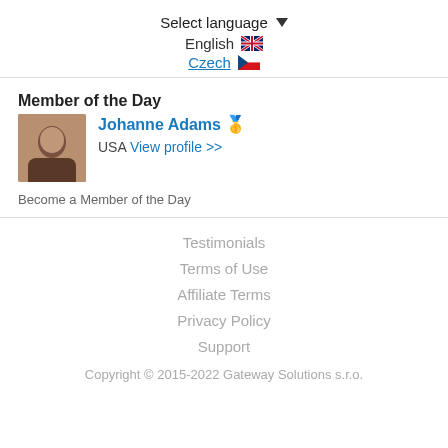Select language ▼
English 🇬🇧
Czech 🇨🇿
Member of the Day
Johanne Adams 🏅 USA View profile >>
Become a Member of the Day
Testimonials
Terms of Use
Affiliate Terms
Privacy Policy
Support
Copyright © 2015-2022 Gateway Solutions s.r.o.